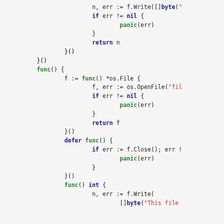[Figure (screenshot): Go source code snippet showing anonymous function literals with file I/O operations including f.Write, os.OpenFile, f.Close, and panic calls, displayed with syntax highlighting in a code editor style.]